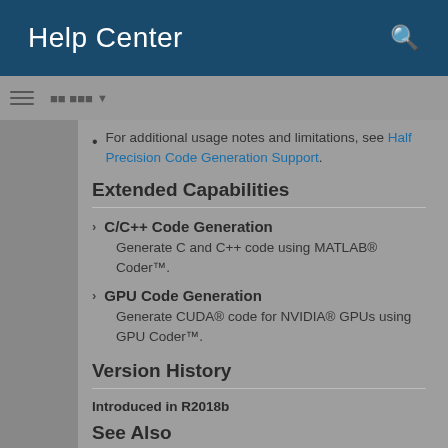Help Center
For additional usage notes and limitations, see Half Precision Code Generation Support.
Extended Capabilities
C/C++ Code Generation
Generate C and C++ code using MATLAB® Coder™.
GPU Code Generation
Generate CUDA® code for NVIDIA® GPUs using GPU Coder™.
Version History
Introduced in R2018b
See Also